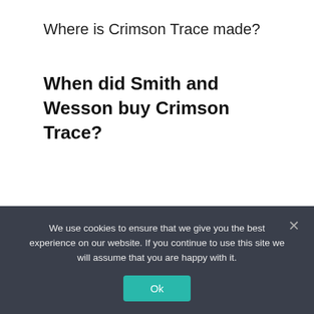Where is Crimson Trace made?
When did Smith and Wesson buy Crimson Trace?
These products are predominantly made for pistols and revolvers, but not exclusively. Interestingly, the company was bought by Smith & Wesson back in 2016 for $95 million. This means that newer Crimson Trace products will be well suited for Smith & Wesson.
We use cookies to ensure that we give you the best experience on our website. If you continue to use this site we will assume that you are happy with it.